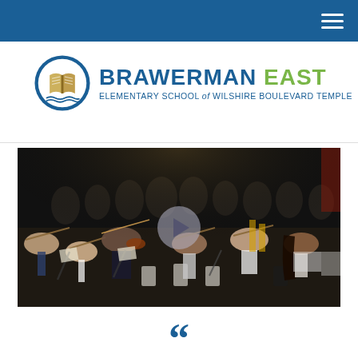Navigation bar with hamburger menu
[Figure (logo): Brawerman East Elementary School of Wilshire Boulevard Temple logo with circular book icon]
[Figure (photo): Students playing string instruments (violins) in an orchestra concert setting on a dark stage, with a video play button overlay in the center]
““